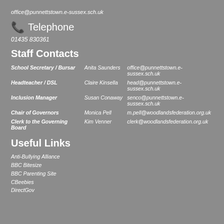office@punnettstown.e-sussex.sch.uk
Telephone
01435 830361
Staff Contacts
| Role | Name | Email |
| --- | --- | --- |
| School Secretary / Bursar | Anita Saunders | office@punnettstown.e-sussex.sch.uk |
| Headteacher / DSL | Claire Kinsella | head@punnettstown.e-sussex.sch.uk |
| Inclusion Manager | Susan Conaway | senco@punnettstown.e-sussex.sch.uk |
| Chair of Governors | Monica Pell | m.pell@woodlandsfederation.org.uk |
| Clerk to the Governing Board | Kim Venner | clerk@woodlandsfederation.org.uk |
Useful Links
Anti-Bullying Alliance
BBC Bitesize
BBC Parenting Site
CBeebies
DirectGov